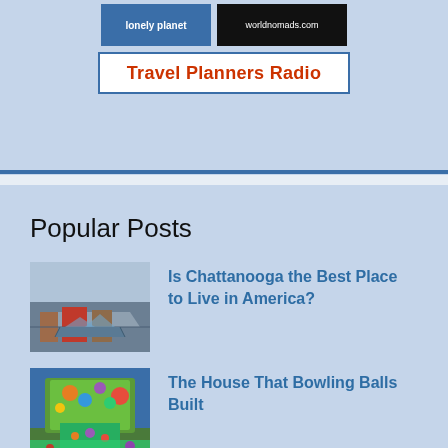[Figure (logo): Lonely Planet logo on blue background]
[Figure (logo): WorldNomads.com logo on black background]
[Figure (logo): Travel Planners Radio banner with red text on white background with blue border]
Popular Posts
[Figure (photo): Aerial or waterfront view of Chattanooga with dock/pier structures and buildings]
Is Chattanooga the Best Place to Live in America?
[Figure (photo): Colorful house decorated with bowling balls and mosaic art surrounded by garden]
The House That Bowling Balls Built